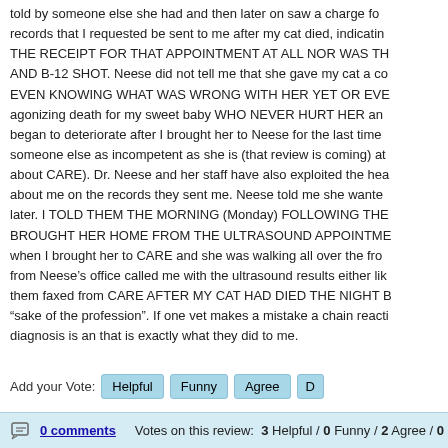told by someone else she had and then later on saw a charge fo records that I requested be sent to me after my cat died, indicatin THE RECEIPT FOR THAT APPOINTMENT AT ALL NOR WAS TH AND B-12 SHOT. Neese did not tell me that she gave my cat a co EVEN KNOWING WHAT WAS WRONG WITH HER YET OR EVE agonizing death for my sweet baby WHO NEVER HURT HER an began to deteriorate after I brought her to Neese for the last time someone else as incompetent as she is (that review is coming) a about CARE). Dr. Neese and her staff have also exploited the hea about me on the records they sent me. Neese told me she wante later. I TOLD THEM THE MORNING (Monday) FOLLOWING THE BROUGHT HER HOME FROM THE ULTRASOUND APPOINTME when I brought her to CARE and she was walking all over the fro from Neese's office called me with the ultrasound results either lik them faxed from CARE AFTER MY CAT HAD DIED THE NIGHT B "sake of the profession". If one vet makes a mistake a chain reacti diagnosis is an that is exactly what they did to me.
http://www.msdivine.net/felinebeauty/vets.php
Further educate yourself about bad Veterinarians:
http://badvetdaily.blogspot.com/
http://regretavet.blogspot.com/
Taking your beloved pet to Neese is playing Russian Roulette with Jennifer Peatie who is just plain obnoxious, scary and rude. My ac body's defenses were shut down by Reese before I could even try
Add your Vote: [Helpful] [Funny] [Agree] [D...]
0 comments    Votes on this review:  3 Helpful / 0 Funny / 2 Agree / 0 Disagree